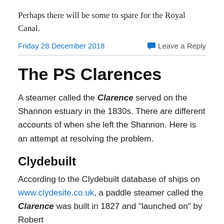Perhaps there will be some to spare for the Royal Canal.
Friday 28 December 2018
Leave a Reply
The PS Clarences
A steamer called the Clarence served on the Shannon estuary in the 1830s. There are different accounts of when she left the Shannon. Here is an attempt at resolving the problem.
Clydebuilt
According to the Clydebuilt database of ships on www.clydesite.co.uk, a paddle steamer called the Clarence was built in 1827 and "launched on" by Robert